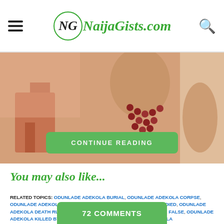NaijaGists.com
[Figure (photo): A person wearing red beaded necklaces, partial view against warm background. A 'CONTINUE READING' green button overlays the bottom of the image.]
You may also like...
RELATED TOPICS: ODUNLADE ADEKOLA BURIAL, ODUNLADE ADEKOLA CORPSE, ODUNLADE ADEKOLA DEAD OR ALIVE ODUNLADE ADEKOLA HAS DIED, ODUNLADE ADEKOLA DEATH RUMOUR, ODUNLADE ADEKOLA DEATH TRUE OR FALSE, ODUNLADE ADEKOLA KILLED BY ROBBERS, WHAT KILLED ODUNLADE ADEKOLA
72 COMMENTS